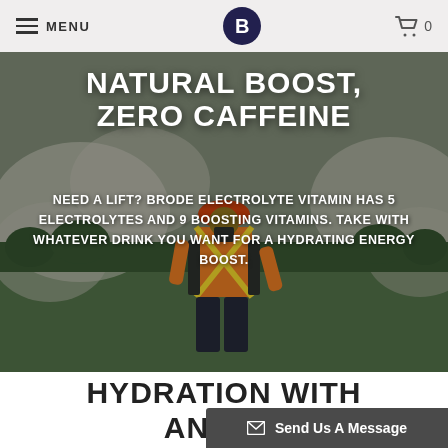MENU | B | 0
[Figure (photo): Outdoor scene showing a worker in an orange high-visibility vest and hard hat walking on a green field with smoke or dust clouds in the background and trees behind.]
NATURAL BOOST, ZERO CAFFEINE
NEED A LIFT? BRODE ELECTROLYTE VITAMIN HAS 5 ELECTROLYTES AND 9 BOOSTING VITAMINS. TAKE WITH WHATEVER DRINK YOU WANT FOR A HYDRATING ENERGY BOOST.
HYDRATION WITH ANY DR
Send Us A Message